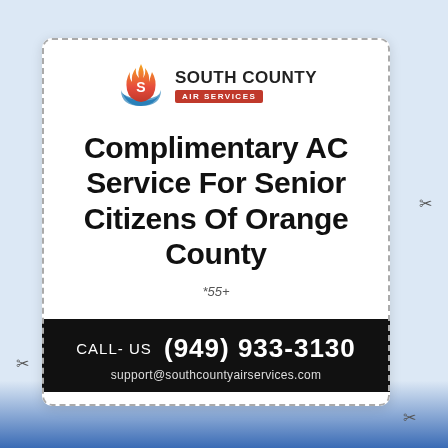[Figure (logo): South County Air Services logo with flame and swoosh icon]
Complimentary AC Service For Senior Citizens Of Orange County
*55+
CALL- US  (949) 933-3130
support@southcountyairservices.com